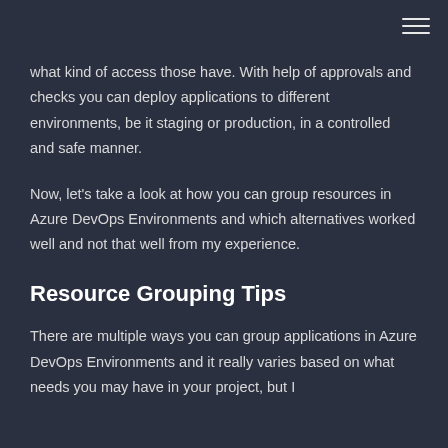menu icon
what kind of access those have. With help of approvals and checks you can deploy applications to different environments, be it staging or production, in a controlled and safe manner.
Now, let's take a look at how you can group resources in Azure DevOps Environments and which alternatives worked well and not that well from my experience.
Resource Grouping Tips
There are multiple ways you can group applications in Azure DevOps Environments and it really varies based on what needs you may have in your project, but I